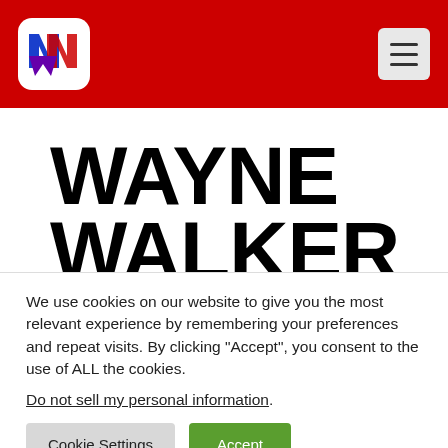[Figure (logo): Red header bar with NNW logo (white rounded square with colorful N W letters) on the left and a hamburger menu button on the right]
WAYNE WALKER
We use cookies on our website to give you the most relevant experience by remembering your preferences and repeat visits. By clicking “Accept”, you consent to the use of ALL the cookies.
Do not sell my personal information.
Cookie Settings | Accept